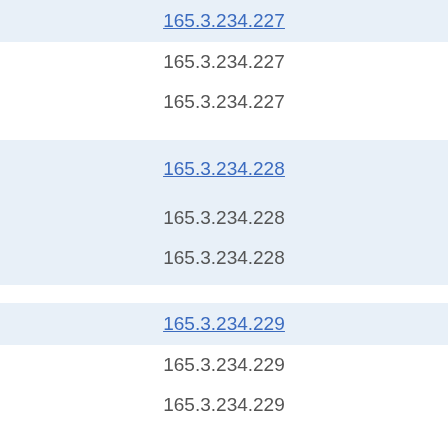165.3.234.227 (link)
165.3.234.227
165.3.234.227
165.3.234.228 (link)
165.3.234.228
165.3.234.228
165.3.234.229 (link)
165.3.234.229
165.3.234.229